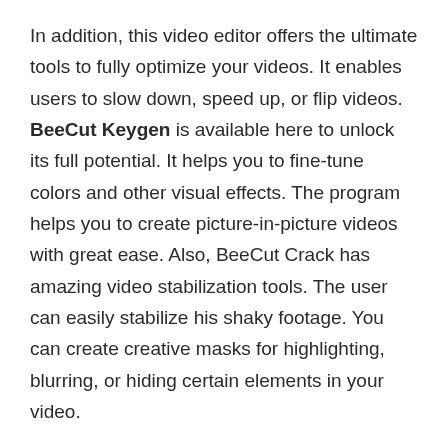In addition, this video editor offers the ultimate tools to fully optimize your videos. It enables users to slow down, speed up, or flip videos. BeeCut Keygen is available here to unlock its full potential. It helps you to fine-tune colors and other visual effects. The program helps you to create picture-in-picture videos with great ease. Also, BeeCut Crack has amazing video stabilization tools. The user can easily stabilize his shaky footage. You can create creative masks for highlighting, blurring, or hiding certain elements in your video.
BeeCut 1.8.2.52 Crack License Code For {Windows+Mac} Free Download
Furthermore, this is not just a video editor but a video